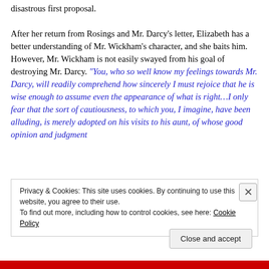disastrous first proposal.

After her return from Rosings and Mr. Darcy's letter, Elizabeth has a better understanding of Mr. Wickham's character, and she baits him. However, Mr. Wickham is not easily swayed from his goal of destroying Mr. Darcy. “You, who so well know my feelings towards Mr. Darcy, will readily comprehend how sincerely I must rejoice that he is wise enough to assume even the appearance of what is right…I only fear that the sort of cautiousness, to which you, I imagine, have been alluding, is merely adopted on his visits to his aunt, of whose good opinion and judgment
Privacy & Cookies: This site uses cookies. By continuing to use this website, you agree to their use.
To find out more, including how to control cookies, see here: Cookie Policy